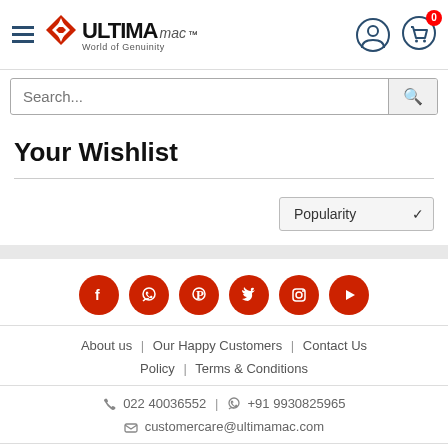[Figure (logo): Ultimamac logo with hamburger menu, user icon, and cart icon with 0 badge]
Search...
Your Wishlist
Popularity (sort dropdown)
[Figure (infographic): Social media icons: Facebook, WhatsApp, Pinterest, Twitter, Instagram, YouTube — all red circles]
About us | Our Happy Customers | Contact Us
Policy | Terms & Conditions
022 40036552 | +91 9930825965
customercare@ultimamac.com
[Figure (infographic): Payment method logos: VISA, MasterCard, RuPay, Maestro, American Express]